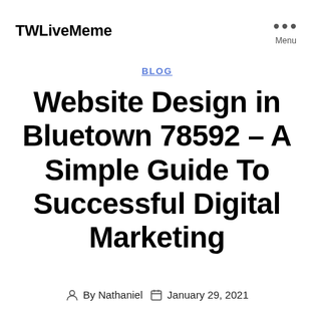TWLiveMeme | Menu
BLOG
Website Design in Bluetown 78592 – A Simple Guide To Successful Digital Marketing
By Nathaniel   January 29, 2021